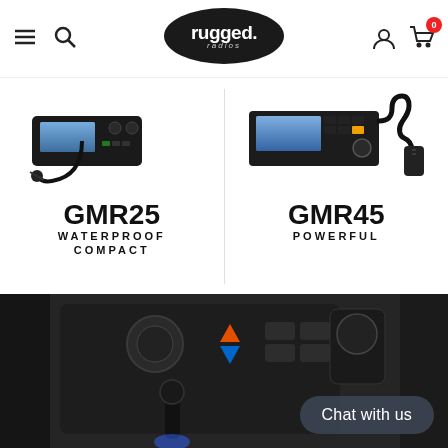rugged. radios — navigation header with hamburger menu, search, logo, user icon, cart (0)
[Figure (photo): GMR25 WATERPROOF COMPACT radio product image on white background]
[Figure (photo): GMR45 POWERFUL radio product image on white background]
[Figure (photo): Jeep Wrangler interior dashboard and center console close-up photo with radio mounted, Chat with us button overlay]